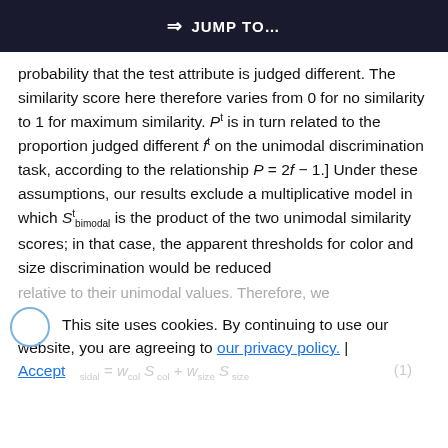JUMP TO...
probability that the test attribute is judged different. The similarity score here therefore varies from 0 for no similarity to 1 for maximum similarity. Pt is in turn related to the proportion judged different f t on the unimodal discrimination task, according to the relationship P = 2f − 1.] Under these assumptions, our results exclude a multiplicative model in which S t bimodal is the product of the two unimodal similarity scores; in that case, the apparent thresholds for color and size discrimination would be reduced
relative to their unimodal values. Therefore, we
This site uses cookies. By continuing to use our website, you are agreeing to our privacy policy. | Accept